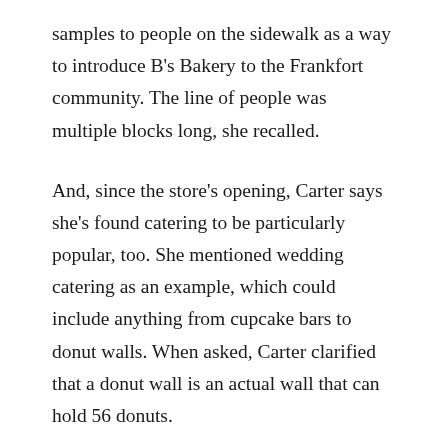samples to people on the sidewalk as a way to introduce B's Bakery to the Frankfort community. The line of people was multiple blocks long, she recalled.
And, since the store's opening, Carter says she's found catering to be particularly popular, too. She mentioned wedding catering as an example, which could include anything from cupcake bars to donut walls. When asked, Carter clarified that a donut wall is an actual wall that can hold 56 donuts.
This year, B's Bakery also started hosting